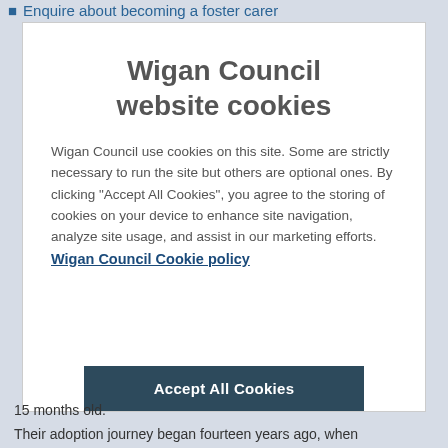Enquire about becoming a foster carer
Wigan Council website cookies
Wigan Council use cookies on this site. Some are strictly necessary to run the site but others are optional ones. By clicking “Accept All Cookies”, you agree to the storing of cookies on your device to enhance site navigation, analyze site usage, and assist in our marketing efforts.
Wigan Council Cookie policy
Accept All Cookies
15 months old.
Their adoption journey began fourteen years ago, when